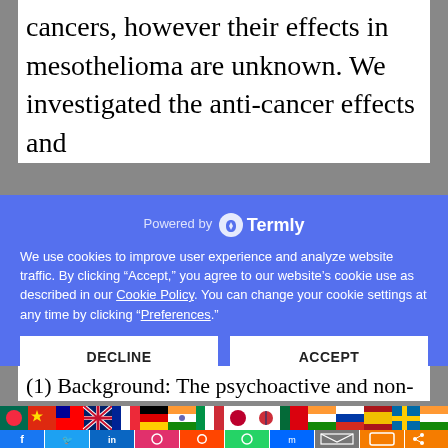cancers, however their effects in mesothelioma are unknown. We investigated the anti-cancer effects and
Powered by Termly
We use cookies to improve user experience and analyze website traffic. By clicking “Accept,” you agree to our website’s cookie use as described in our Cookie Policy. You can change your cookie settings at any time by clicking “Preferences.”
DECLINE
ACCEPT
PREFERENCES
(1) Background: The psychoactive and non-
[Figure (infographic): Flag bar showing multiple country flags including Bangladesh, China, Taiwan, UK, France, Germany, India, Italy, Japan, South Korea, Portugal, Portugal, India, Russia, Spain, Sweden, India]
[Figure (infographic): Social media sharing bar with icons for Facebook, Twitter, LinkedIn, Instagram, Reddit, WhatsApp, Messenger, Email, Print, Share]